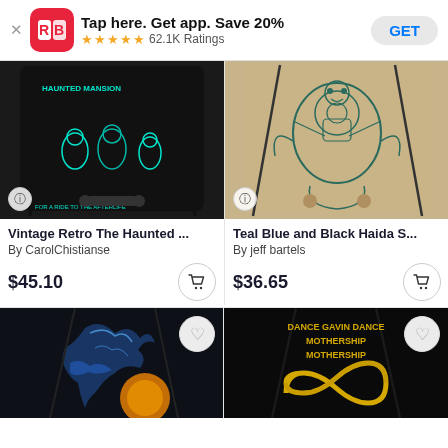Tap here. Get app. Save 20% ★★★★★ 62.1K Ratings GET
[Figure (photo): Drawstring bag with Haunted Mansion themed artwork showing glowing green ghosts on black background]
[Figure (photo): Drawstring bag with teal blue and black Haida turtle artwork on tan/beige background]
Vintage Retro The Haunted ...
By CarolChistianse
$45.10
Teal Blue and Black Haida S...
By jeff bartels
$36.65
[Figure (photo): Drawstring bag with blue raven/crow artwork on dark background with orange moon]
[Figure (photo): Drawstring bag with Dance Gavin Dance Mothership text and infinity symbol in gold on black background]